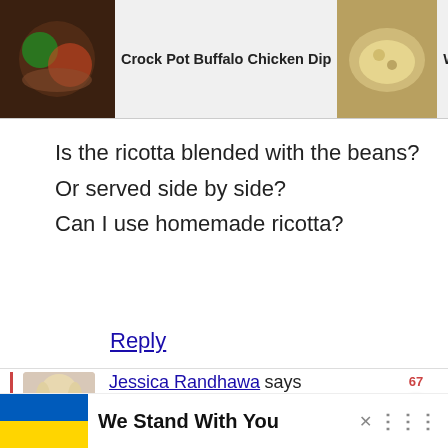[Figure (screenshot): Top navigation banner with three food recipe thumbnails: Crock Pot Buffalo Chicken Dip, White Bean Hummus Recipe with..., White Bean Soup with search icon overlay]
Is the ricotta blended with the beans?
Or served side by side?
Can I use homemade ricotta?
Reply
Jessica Randhawa says
July 12, 2022 at 8:24 pm
Per step #3 of the recipe card:
We Stand With You